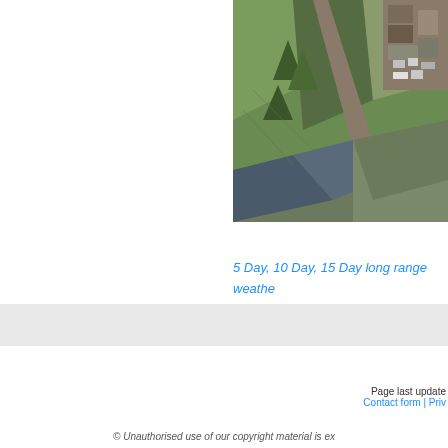[Figure (photo): Aerial satellite photograph showing green fields, a road/path, trees, and farm buildings in the upper right corner. The image is taken from an elevated angle showing rural countryside.]
5 Day, 10 Day, 15 Day long range weathe
Click here for page top
Page last update
Contact form | Priv
© Unauthorised use of our copyright material is ex